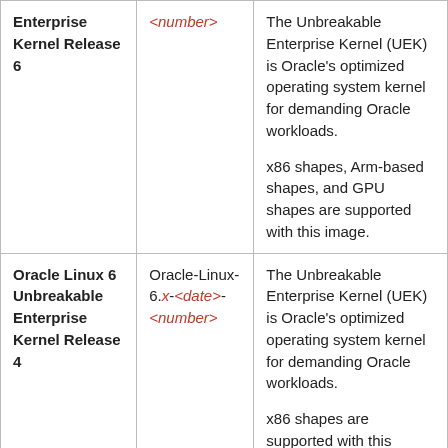| Oracle Linux 6 Unbreakable Enterprise Kernel Release 6 | <number> | The Unbreakable Enterprise Kernel (UEK) is Oracle's optimized operating system kernel for demanding Oracle workloads.

x86 shapes, Arm-based shapes, and GPU shapes are supported with this image. |
| Oracle Linux 6 Unbreakable Enterprise Kernel Release 4 | Oracle-Linux-6.x-<date>-<number> | The Unbreakable Enterprise Kernel (UEK) is Oracle's optimized operating system kernel for demanding Oracle workloads.

x86 shapes are supported with this image. |